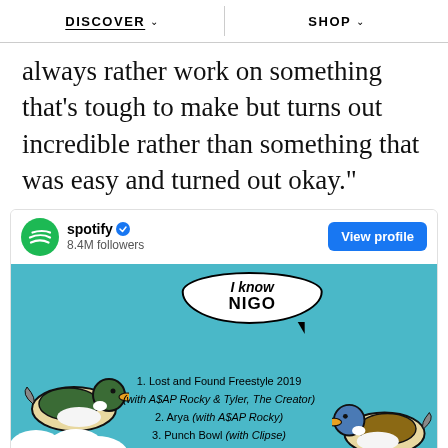DISCOVER   SHOP
always rather work on something that's tough to make but turns out incredible rather than something that was easy and turned out okay."
[Figure (screenshot): Spotify Twitter/social profile card showing 'I know NIGO' playlist with duck illustrations on teal background, 8.4M followers, View profile button, and track listing: 1. Lost and Found Freestyle 2019 (with A$AP Rocky & Tyler, The Creator), 2. Arya (with A$AP Rocky), 3. Punch Bowl (with Clipse), 4. Functional Addict (with Pharrell & Gunna), 5. Want It Bad (with Kid Cudi), 6. Morë Tonight (with Teriyaki Boyz)]